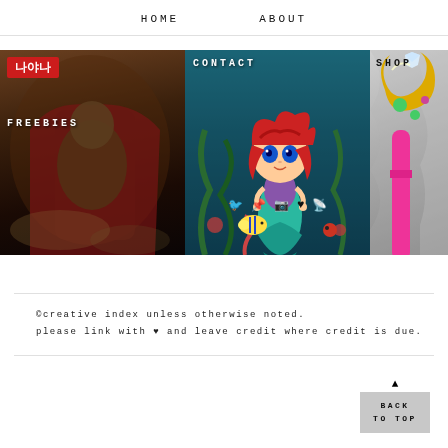HOME    ABOUT
[Figure (screenshot): Website navigation banner with three image panels: 1) Dark fantasy warrior figure with Korean badge and FREEBIES label, 2) Little Mermaid Ariel cartoon figure underwater with CONTACT label and social media icons, 3) Partial view of a pink magical wand with SHOP label, on grey background]
©creative index unless otherwise noted.
please link with ♥ and leave credit where credit is due.
▲
BACK
TO TOP